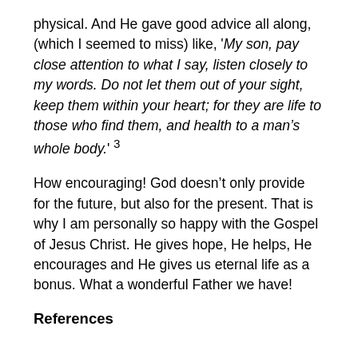physical. And He gave good advice all along, (which I seemed to miss) like, 'My son, pay close attention to what I say, listen closely to my words. Do not let them out of your sight, keep them within your heart; for they are life to those who find them, and health to a man's whole body.' 3
How encouraging! God doesn't only provide for the future, but also for the present. That is why I am personally so happy with the Gospel of Jesus Christ. He gives hope, He helps, He encourages and He gives us eternal life as a bonus. What a wonderful Father we have!
References